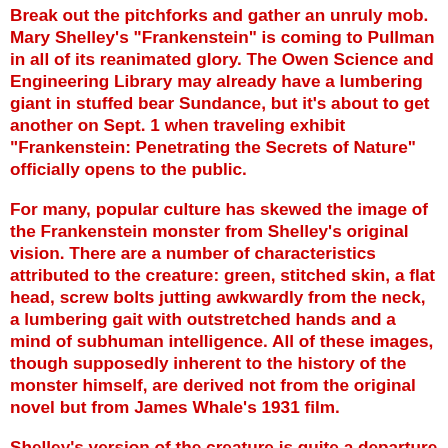Break out the pitchforks and gather an unruly mob. Mary Shelley's "Frankenstein" is coming to Pullman in all of its reanimated glory. The Owen Science and Engineering Library may already have a lumbering giant in stuffed bear Sundance, but it's about to get another on Sept. 1 when traveling exhibit "Frankenstein: Penetrating the Secrets of Nature" officially opens to the public.
For many, popular culture has skewed the image of the Frankenstein monster from Shelley's original vision. There are a number of characteristics attributed to the creature: green, stitched skin, a flat head, screw bolts jutting awkwardly from the neck, a lumbering gait with outstretched hands and a mind of subhuman intelligence. All of these images, though supposedly inherent to the history of the monster himself, are derived not from the original novel but from James Whale's 1931 film.
Shelley's version of the creature is quite a departure from the more infamous Hollywood version in the early 20th century. Her novel, published in 1818, depicted the